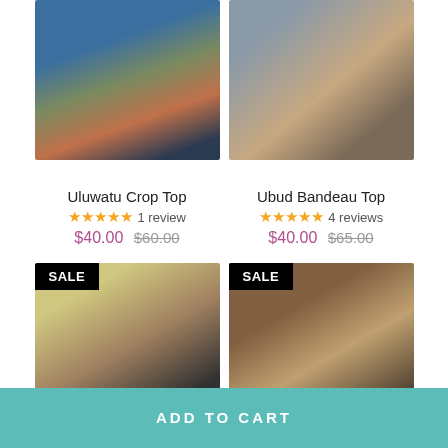[Figure (photo): Woman with red crop top and navy bikini bottom at beach with surfboard]
[Figure (photo): Woman in bikini sitting on rocks outdoors]
Uluwatu Crop Top
★★★★★ 1 review
$40.00 $60.00
Ubud Bandeau Top
★★★★★ 4 reviews
$40.00 $65.00
[Figure (photo): Woman in dark swimsuit near yellow surfboard, SALE badge]
[Figure (photo): Woman in white swimsuit near wooden columns, SALE badge]
ADD TO CART